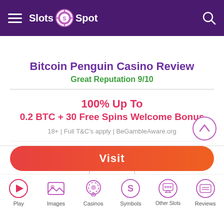Slots Spot
Bitcoin Penguin Casino Review
Great Reputation 9/10
100% Up To
0.2 BTC + 30 Free Spins Welcome Bonus
18+ | Full T&C's apply | BeGambleAware.org
Visit
Play | Images | Casinos | Symbols | Other Slots | Reviews